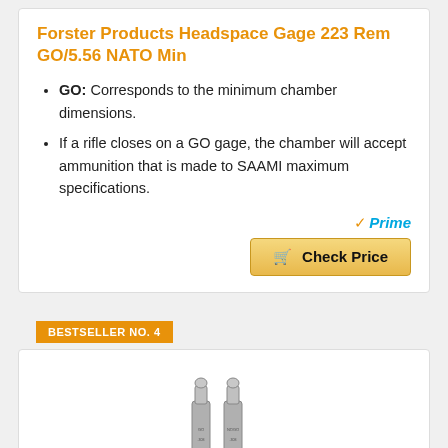Forster Products Headspace Gage 223 Rem GO/5.56 NATO Min
GO: Corresponds to the minimum chamber dimensions.
If a rifle closes on a GO gage, the chamber will accept ammunition that is made to SAAMI maximum specifications.
[Figure (logo): Amazon Prime badge with orange checkmark and blue Prime text, followed by a gold Check Price button with shopping cart icon]
BESTSELLER NO. 4
[Figure (photo): Two metallic headspace gauges side by side, cylindrical silver gauge tools with text markings]
308 Winchester Headspace Gauge Set GO and